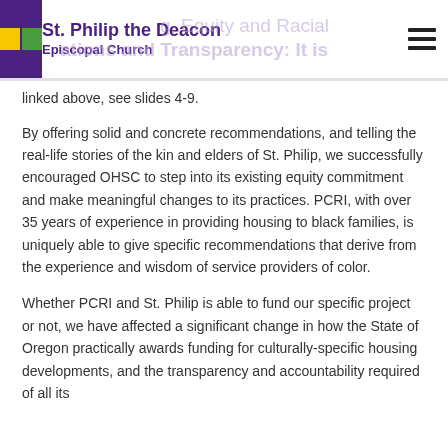St. Philip the Deacon Episcopal Church
linked above, see slides 4-9.
By offering solid and concrete recommendations, and telling the real-life stories of the kin and elders of St. Philip, we successfully encouraged OHSC to step into its existing equity commitment and make meaningful changes to its practices. PCRI, with over 35 years of experience in providing housing to black families, is uniquely able to give specific recommendations that derive from the experience and wisdom of service providers of color.
Whether PCRI and St. Philip is able to fund our specific project or not, we have affected a significant change in how the State of Oregon practically awards funding for culturally-specific housing developments, and the transparency and accountability required of all its